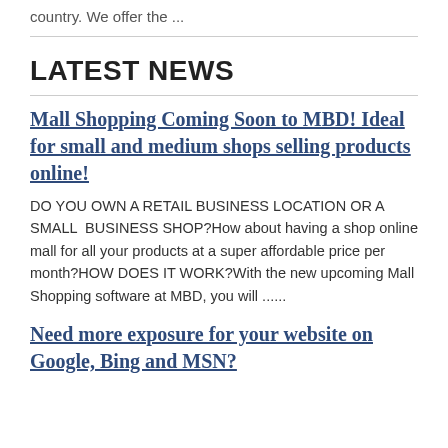country. We offer the ...
LATEST NEWS
Mall Shopping Coming Soon to MBD! Ideal for small and medium shops selling products online!
DO YOU OWN A RETAIL BUSINESS LOCATION OR A SMALL  BUSINESS SHOP?How about having a shop online mall for all your products at a super affordable price per month?HOW DOES IT WORK?With the new upcoming Mall Shopping software at MBD, you will ......
Need more exposure for your website on Google, Bing and MSN?